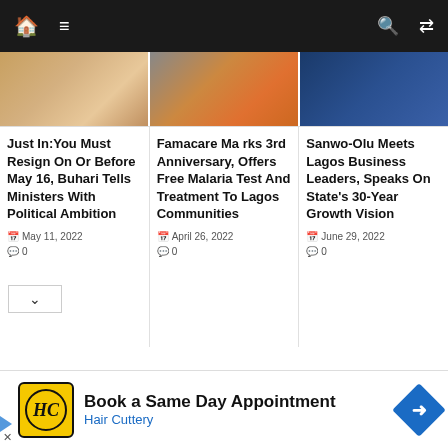Navigation bar with home, menu, search, and shuffle icons
[Figure (photo): Three news article thumbnail images in a row]
Just In:You Must Resign On Or Before May 16, Buhari Tells Ministers With Political Ambition
May 11, 2022  0
Famacare Marks 3rd Anniversary, Offers Free Malaria Test And Treatment To Lagos Communities
April 26, 2022  0
Sanwo-Olu Meets Lagos Business Leaders, Speaks On State's 30-Year Growth Vision
June 29, 2022  0
Book a Same Day Appointment
Hair Cuttery